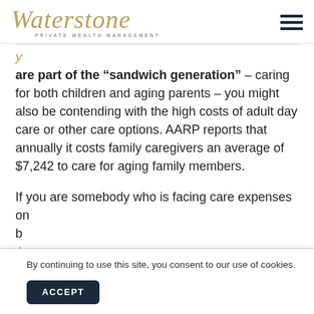[Figure (logo): Waterstone Private Wealth Management logo with gold italic script and small caps subtitle]
are part of the “sandwich generation” – caring for both children and aging parents – you might also be contending with the high costs of adult day care or other care options. AARP reports that annually it costs family caregivers an average of $7,242 to care for aging family members.
If you are somebody who is facing care expenses on b th c
By continuing to use this site, you consent to our use of cookies.
ACCEPT